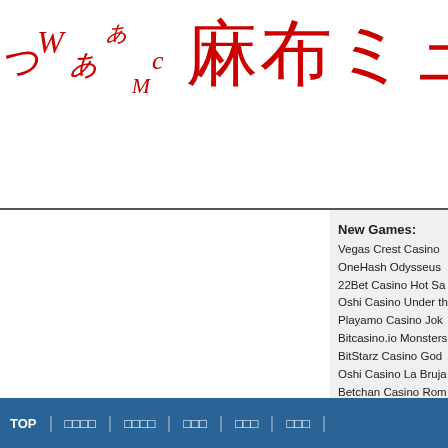麻布ミュージックコミ (logo with decorative letters)
New Games:
Vegas Crest Casino
OneHash Odysseus
22Bet Casino Hot Sa...
Oshi Casino Under th...
Playamo Casino Jok...
Bitcasino.io Monsters...
BitStarz Casino God...
Oshi Casino La Bruja...
Betchan Casino Rom...
Betchan Casino A Ni...
TOP　｜　□□□□　｜　□□□□　｜　□□□　｜　□□□　｜　□□□　｜